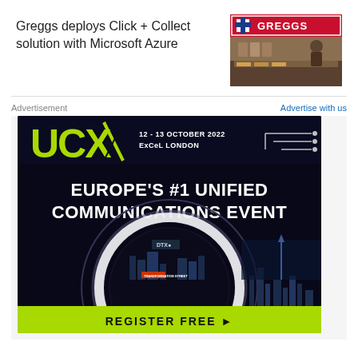Greggs deploys Click + Collect solution with Microsoft Azure
[Figure (photo): Greggs bakery store front with red and cream sign showing the Greggs logo with a St George's cross icon]
[Figure (infographic): UCX advertisement banner: UCX 12-13 October 2022 ExCeL London – Europe's #1 Unified Communications Event. Dark background with green UCX logo, circuit graphics, futuristic tunnel imagery, and Register Free call-to-action button in lime green.]
Advertisement
Advertise with us